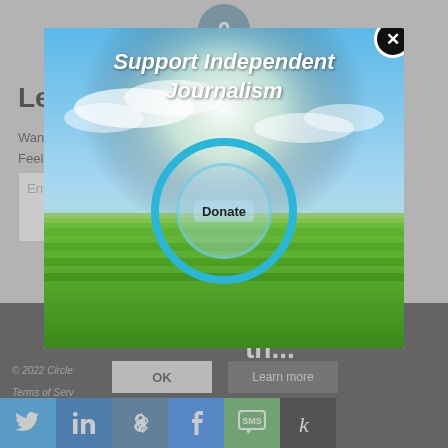0 REPLIES
Leave a Reply
Want to join the discussion?
Feel free
Enter
[Figure (other): Modal popup with landscape photo background (green fields, blue sky with sunlight). Contains text 'Support Independent Journalism' in italic bold white, a circular teal 'Donate' button, and a black close (X) button in the top right corner.]
You have the power to inform th...
This site uses cookies. By continuing to browse the site, you are agreeing to our use of cookies.
© 2022 Circle
Terms of Serv
OK
Learn more